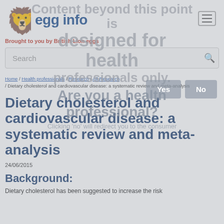egg info — Brought to you by British Lion eggs
Home / Health professionals / Research / All Research / Dietary cholesterol and cardiovascular disease: a systematic review and meta-analysis
Dietary cholesterol and cardiovascular disease: a systematic review and meta-analysis
24/06/2015
Background:
Dietary cholesterol has been suggested to increase the risk